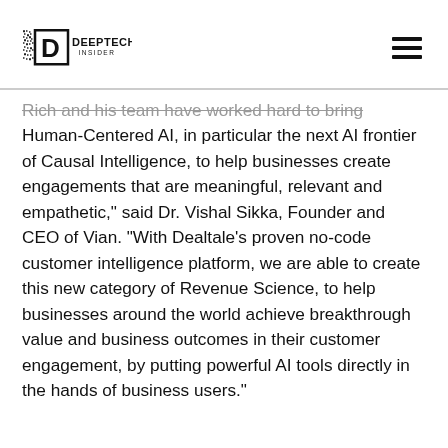DEEPTECH INSIDER
Rich and his team have worked hard to bring Human-Centered AI, in particular the next AI frontier of Causal Intelligence, to help businesses create engagements that are meaningful, relevant and empathetic," said Dr. Vishal Sikka, Founder and CEO of Vian. "With Dealtale's proven no-code customer intelligence platform, we are able to create this new category of Revenue Science, to help businesses around the world achieve breakthrough value and business outcomes in their customer engagement, by putting powerful AI tools directly in the hands of business users."